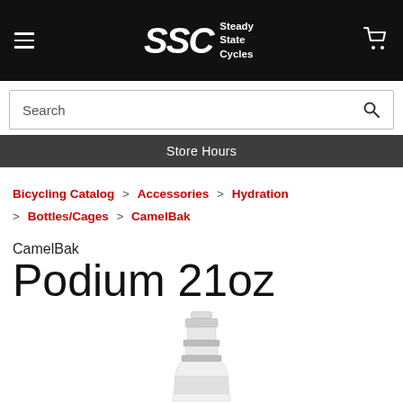SSC Steady State Cycles
Search
Store Hours
Bicycling Catalog > Accessories > Hydration > Bottles/Cages > CamelBak
CamelBak Podium 21oz
[Figure (photo): CamelBak Podium 21oz water bottle, white/clear, shown from the top portion with the nozzle cap visible]